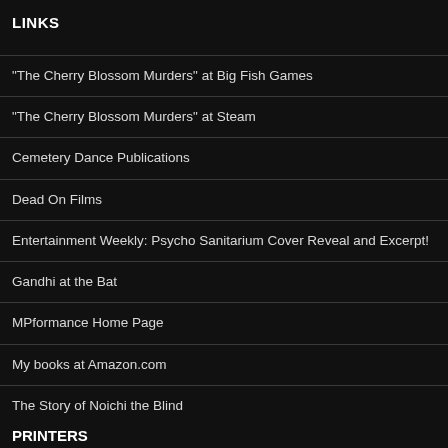LINKS
"The Cherry Blossom Murders" at Big Fish Games
"The Cherry Blossom Murders" at Steam
Cemetery Dance Publications
Dead On Films
Entertainment Weekly: Psycho Sanitarium Cover Reveal and Excerpt!
Gandhi at the Bat
MPformance Home Page
My books at Amazon.com
The Story of Noichi the Blind
PRINTERS